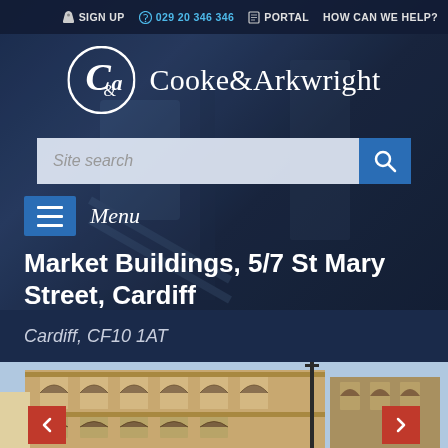SIGN UP  029 20 346 346  PORTAL  HOW CAN WE HELP?
[Figure (logo): Cooke & Arkwright logo with circular C&A icon in white on dark background]
[Figure (screenshot): Site search bar with blue search button]
[Figure (screenshot): Hamburger menu button with Menu label]
Market Buildings, 5/7 St Mary Street, Cardiff
Cardiff, CF10 1AT
[Figure (photo): Photograph of a Victorian-era stone building with ornate arched windows and decorative facade - Market Buildings Cardiff]
[Figure (screenshot): Navigation arrows (red left and right chevrons) for image carousel]